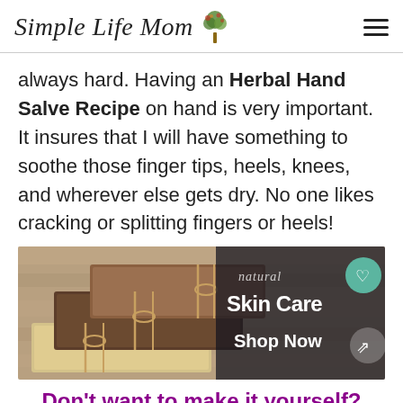Simple Life Mom
always hard. Having an Herbal Hand Salve Recipe on hand is very important. It insures that I will have something to soothe those finger tips, heels, knees, and wherever else gets dry. No one likes cracking or splitting fingers or heels!
[Figure (photo): Photo of natural handmade soap bars wrapped with twine, with an overlay advertisement reading 'Natural Skin Care – Shop Now' with a heart icon and share icon]
Don't want to make it yourself? You can find this in My Shop!